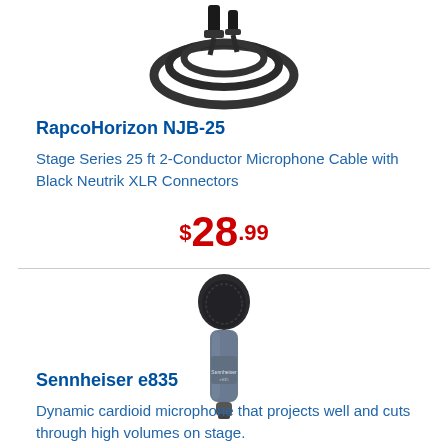[Figure (photo): Photo of a microphone cable coiled, with XLR connectors visible at the top]
RapcoHorizon NJB-25
Stage Series 25 ft 2-Conductor Microphone Cable with Black Neutrik XLR Connectors
$28.99
[Figure (photo): Photo of a Sennheiser e835 dynamic cardioid microphone, dark grey/blue body]
Sennheiser e835
Dynamic cardioid microphone that projects well and cuts through high volumes on stage.